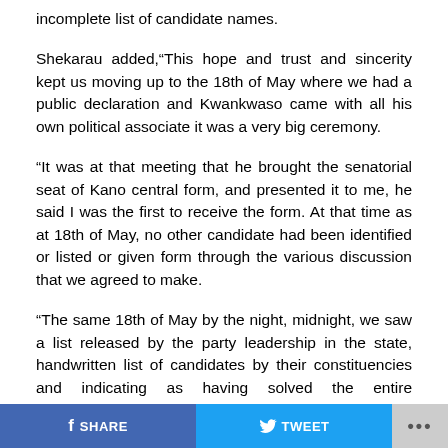incomplete list of candidate names.
Shekarau added,“This hope and trust and sincerity kept us moving up to the 18th of May where we had a public declaration and Kwankwaso came with all his own political associate it was a very big ceremony.
“It was at that meeting that he brought the senatorial seat of Kano central form, and presented it to me, he said I was the first to receive the form. At that time as at 18th of May, no other candidate had been identified or listed or given form through the various discussion that we agreed to make.
“The same 18th of May by the night, midnight, we saw a list released by the party leadership in the state, handwritten list of candidates by their constituencies and indicating as having solved the entire constituencies’
SHARE   TWEET